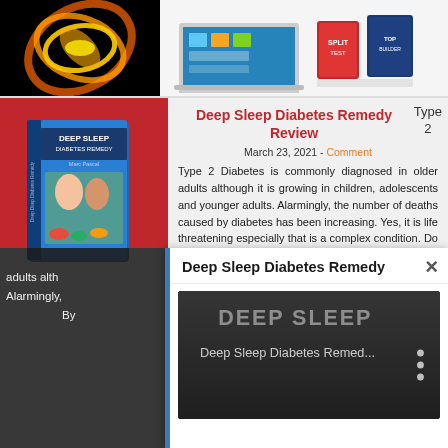[Figure (photo): Fire/flame abstract orb on black background]
[Figure (photo): Software product boxes on laptop — split testing / marketing software]
[Figure (photo): Deep Sleep Diabetes Remedy book cover with couple and vegetables]
Deep Sleep Diabetes Remedy Review
March 23, 2021 - Comment
Type 2 Diabetes is commonly diagnosed in older adults although it is growing in children, adolescents and younger adults. Alarmingly, the number of deaths caused by diabetes has been increasing. Yes, it is life threatening especially that is a complex condition. Do you know someone suffering from it? Know how to reverse it! What is
Type 2
adults alth
Alarmingly,
By
Deep Sleep Diabetes Remedy
[Figure (screenshot): Video thumbnail showing Deep Sleep Diabetes Remedy video with text overlay DEEP SLEEP and Deep Sleep Diabetes Remed...]